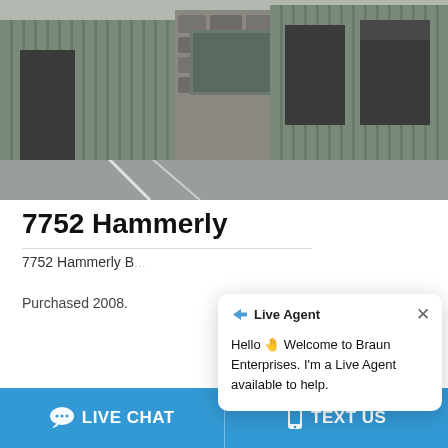[Figure (photo): Exterior photo of an industrial or commercial building with corrugated metal siding and stone/concrete block walls, with a parking area in the foreground.]
7752 Hammerly
7752 Hammerly B...
Purchased 2008.
[Figure (screenshot): Live Agent chat popup widget from Braun Enterprises with notification badge showing '1', green online indicator, and company logo circle. Popup message reads: Hello 👋 Welcome to Braun Enterprises. I'm a Live Agent available to help.]
Hello 👋 Welcome to Braun Enterprises. I'm a Live Agent available to help.
LIVE CHAT  |  TEXT US